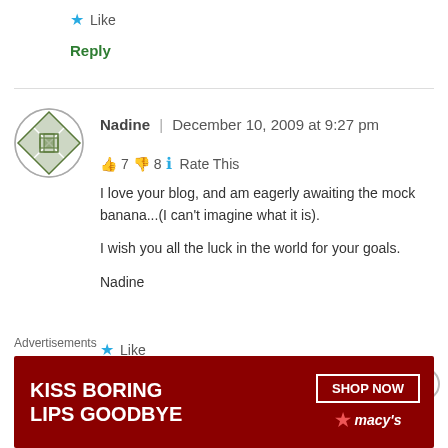★ Like
Reply
Nadine | December 10, 2009 at 9:27 pm
👍 7 👎 8 ℹ Rate This
I love your blog, and am eagerly awaiting the mock banana...(I can't imagine what it is).

I wish you all the luck in the world for your goals.

Nadine
★ Like
Advertisements
[Figure (illustration): Macy's advertisement banner: KISS BORING LIPS GOODBYE with a SHOP NOW button and Macy's logo on dark red background]